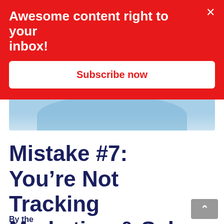Awesome content right to your inbox!
Subscribe now
[Figure (illustration): Light blue banner image with curved arc shape, partially visible behind popup]
Mistake #7: You’re Not Tracking Marketing & Sales Efforts
Button partially visible at bottom